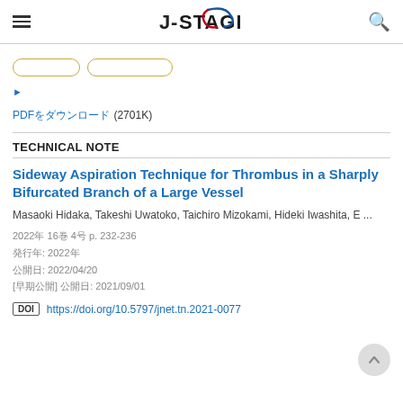J-STAGE
[Japanese tags: tag1, tag2]
▶ [Japanese collapse link]
PDF[Japanese] (2701K)
TECHNICAL NOTE
Sideway Aspiration Technique for Thrombus in a Sharply Bifurcated Branch of a Large Vessel
Masaoki Hidaka, Takeshi Uwatoko, Taichiro Mizokami, Hideki Iwashita, E ...
2022年 16巻 4号 p. 232-236
発行年: 2022年
公開日: 2022/04/20
[早期公開] 公開日: 2021/09/01
DOI https://doi.org/10.5797/jnet.tn.2021-0077